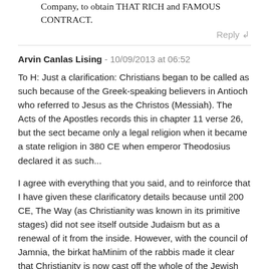Company, to obtain THAT RICH and FAMOUS CONTRACT.
Reply ↲
Arvin Canlas Lising - 10/09/2013 at 06:52
To H: Just a clarification: Christians began to be called as such because of the Greek-speaking believers in Antioch who referred to Jesus as the Christos (Messiah). The Acts of the Apostles records this in chapter 11 verse 26, but the sect became only a legal religion when it became a state religion in 380 CE when emperor Theodosius declared it as such...
I agree with everything that you said, and to reinforce that I have given these clarificatory details because until 200 CE, The Way (as Christianity was known in its primitive stages) did not see itself outside Judaism but as a renewal of it from the inside. However, with the council of Jamnia, the birkat haMinim of the rabbis made it clear that Christianity is now cast off the whole of the Jewish way of